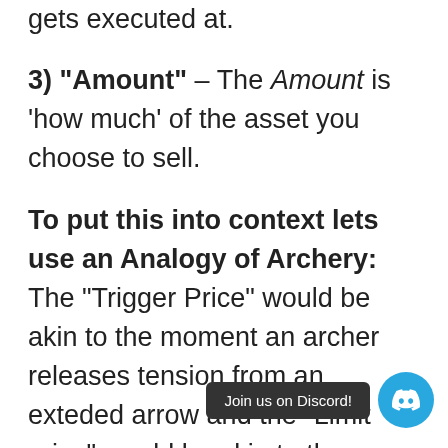gets executed at.
3) "Amount" – The Amount is 'how much' of the asset you choose to sell.
To put this into context lets use an Analogy of Archery: The "Trigger Price" would be akin to the moment an archer releases tension from an exteded arrow and the "Limit price" would be akin to the moment